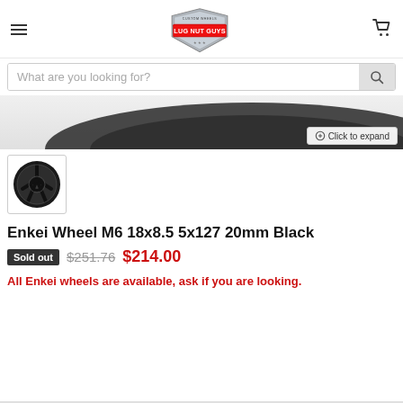Lug Nut Guys - Custom Wheels (navigation header with logo, hamburger menu, cart icon)
What are you looking for? (search bar)
[Figure (photo): Partial product image of a black wheel rim (Enkei M6) shown at top edge, with 'Click to expand' button overlay]
[Figure (photo): Thumbnail image of Enkei M6 18x8.5 5x127 20mm Black wheel - dark five-spoke alloy wheel]
Enkei Wheel M6 18x8.5 5x127 20mm Black
Sold out  $251.76  $214.00
All Enkei wheels are available, ask if you are looking.